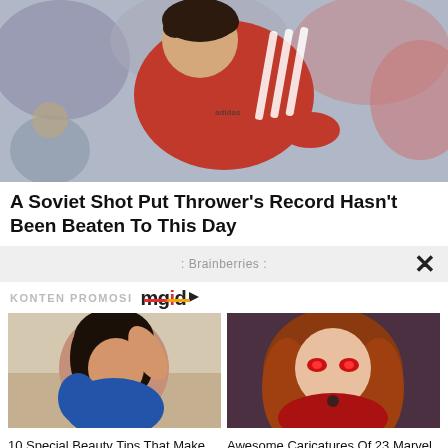[Figure (photo): A Soviet shot put thrower athlete in a red Adidas jersey, looking downward, with blurred crowd in background. Black and white tones with red jersey.]
A Soviet Shot Put Thrower's Record Hasn't Been Beaten To This Day
Brainberries
KONTEN PROMOSI mgid
[Figure (photo): A young Indian woman with dark hair posing in a blue patterned outfit, looking downward, outdoor background.]
10 Special Beauty Tips That Make Indian Women So Beautiful
[Figure (illustration): Illustrated caricature of a Marvel heroine with long auburn hair and red glowing eyes in a red outfit.]
Awesome Caricatures Of 23 Marvel Heroes